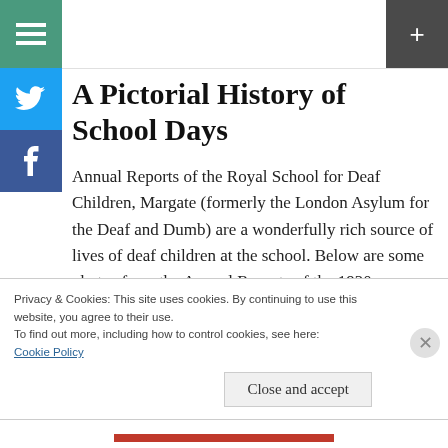A Pictorial History of School Days
Annual Reports of the Royal School for Deaf Children, Margate (formerly the London Asylum for the Deaf and Dumb) are a wonderfully rich source of lives of deaf children at the school. Below are some photos from the Annual Reports of the 1920s
Privacy & Cookies: This site uses cookies. By continuing to use this website, you agree to their use.
To find out more, including how to control cookies, see here:
Cookie Policy
Close and accept